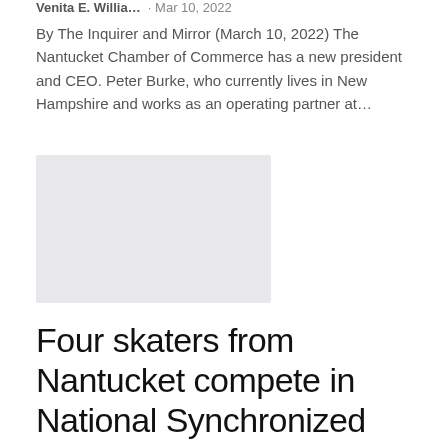Venita E. Willia... · Mar 10, 2022
By The Inquirer and Mirror (March 10, 2022) The Nantucket Chamber of Commerce has a new president and CEO. Peter Burke, who currently lives in New Hampshire and works as an operating partner at…
[Figure (photo): Placeholder image rectangle with light grey background]
Four skaters from Nantucket compete in National Synchronized Skating Championships